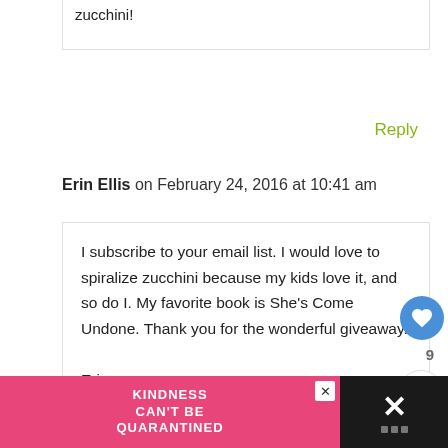zucchini!
Reply
Erin Ellis on February 24, 2016 at 10:41 am
I subscribe to your email list. I would love to spiralize zucchini because my kids love it, and so do I. My favorite book is She's Come Undone. Thank you for the wonderful giveaway.

Erin

ErinLoves2Run at gmail dot com
[Figure (infographic): WHAT'S NEXT arrow with Zucchini Noodle Sala... thumbnail]
[Figure (infographic): KINDNESS CAN'T BE QUARANTINED advertisement banner in pink with close button and dark section with X icon]